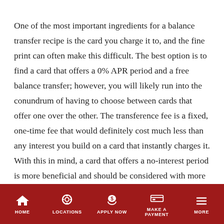One of the most important ingredients for a balance transfer recipe is the card you charge it to, and the fine print can often make this difficult. The best option is to find a card that offers a 0% APR period and a free balance transfer; however, you will likely run into the conundrum of having to choose between cards that offer one over the other. The transference fee is a fixed, one-time fee that would definitely cost much less than any interest you build on a card that instantly charges it. With this in mind, a card that offers a no-interest period is more beneficial and should be considered with more weight than free transference. Some of the best choices for those in Nevada who are not associated with the military are the American Express credit card and Bank of America's credit card. If you have been in the
HOME | LOCATIONS | APPLY NOW | MAKE A PAYMENT | MORE